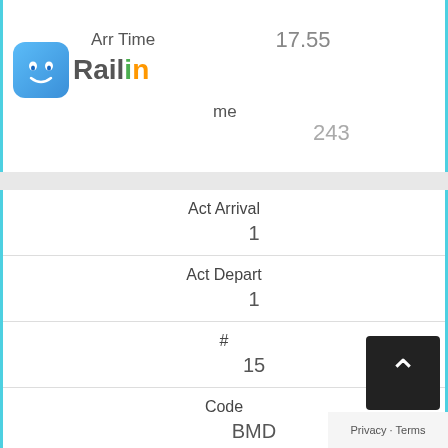Arr Time 17.55
[Figure (logo): Railin app logo with blue icon and colorful text]
me 243
| Field | Value |
| --- | --- |
| Act Arrival | 1 |
| Act Depart | 1 |
| # | 15 |
| Code | BMD |
| Name | Bhimadolu |
| Exp Platform | 18.19 |
| Arr Time | 18.20 |